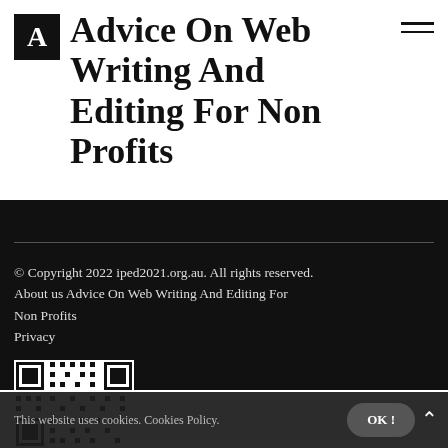Advice On Web Writing And Editing For Non Profits
© Copyright 2022 iped2021.org.au. All rights reserved. About us Advice On Web Writing And Editing For Non Profits Privacy
[Figure (other): QR code for the website]
This website uses cookies. Cookies Policy.